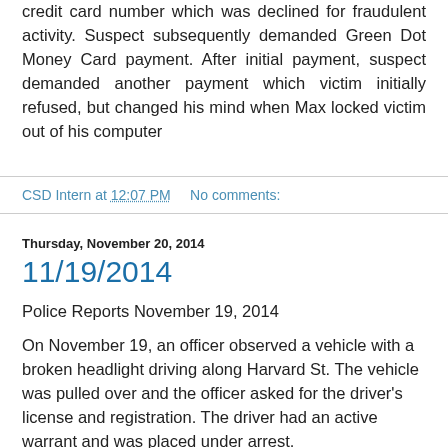credit card number which was declined for fraudulent activity. Suspect subsequently demanded Green Dot Money Card payment. After initial payment, suspect demanded another payment which victim initially refused, but changed his mind when Max locked victim out of his computer
CSD Intern at 12:07 PM   No comments:
Thursday, November 20, 2014
11/19/2014
Police Reports November 19, 2014
On November 19, an officer observed a vehicle with a broken headlight driving along Harvard St. The vehicle was pulled over and the officer asked for the driver's license and registration. The driver had an active warrant and was placed under arrest.